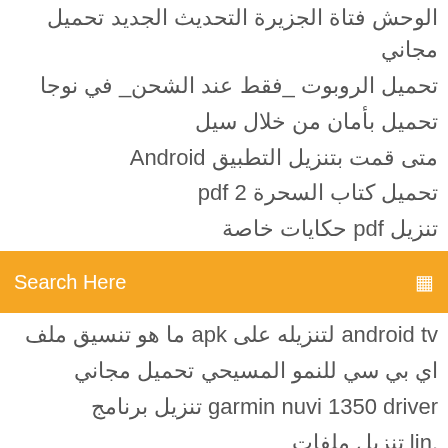الوحش فتاة الجزيرة التحديث الجديد تحميل مجاني
تحميل الروبوت _فقط عند الشحن_ في نوجا
تحميل بأمان من خلال سيل
متى قمت بتنزيل التطبيق Android
تحميل كتاب السحرة 2 pdf
تنزيل pdf حكايات خاصة
Search Here
android tv لتنزيله على apk ما هو تنسيق ملف
اي بي سي للنمو المسيحي تحميل مجاني
garmin nuvi 1350 driver تنزيل برنامج
.lin تنزيل ملفات
vpn سيشاهد التورنت أقرانه ولكن لن يتم تنزيله عبر
تحميل لعبة كمبيوتر بارجة 1997
تحميل مجاني للألعاب الشهيرة للكمبيوتر نسخة كاملة
تحميل brother j4420dw driver
قم بتنزيل نافذة مسجل الشاشة المجانية 10
تنزيل Bully (usa) iso